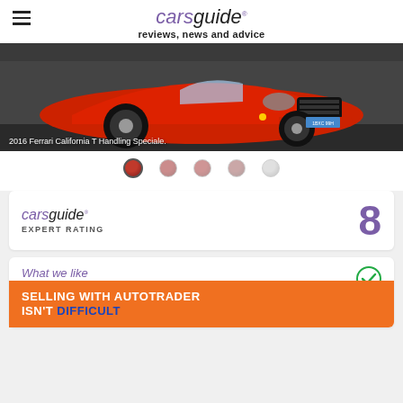carsguide reviews, news and advice
[Figure (photo): Red 2016 Ferrari California T Handling Speciale, front view, license plate 1BXC 99H]
2016 Ferrari California T Handling Speciale.
[Figure (other): Row of 5 thumbnail image dots for image carousel navigation]
[Figure (infographic): CarsGuide Expert Rating card showing score of 8]
EXPERT RATING
What we like
+ M... s...
[Figure (other): Autotrader advertisement banner: SELLING WITH AUTOTRADER ISN'T DIFFICULT]